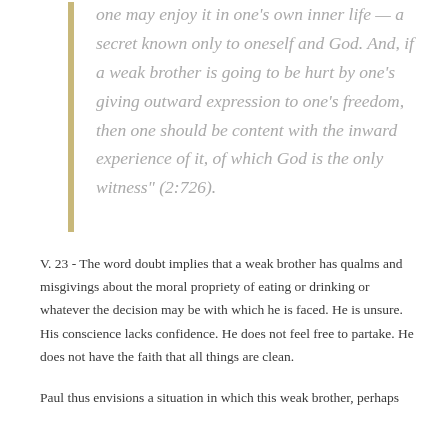one may enjoy it in one's own inner life — a secret known only to oneself and God. And, if a weak brother is going to be hurt by one's giving outward expression to one's freedom, then one should be content with the inward experience of it, of which God is the only witness" (2:726).
V. 23 - The word doubt implies that a weak brother has qualms and misgivings about the moral propriety of eating or drinking or whatever the decision may be with which he is faced. He is unsure. His conscience lacks confidence. He does not feel free to partake. He does not have the faith that all things are clean.
Paul thus envisions a situation in which this weak brother, perhaps